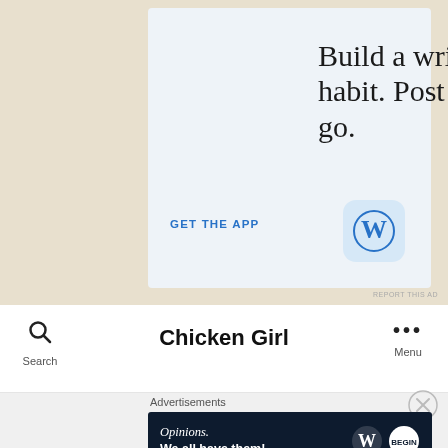[Figure (screenshot): WordPress app advertisement with text 'Build a writing habit. Post on the go.' and 'GET THE APP' call to action with WordPress logo icon on a light blue background]
REPORT THIS AD
Chicken Girl
Search
Menu
Advertisements
[Figure (screenshot): WordPress advertisement banner with text 'Opinions. We all have them!' on a dark navy background with WordPress and other logos]